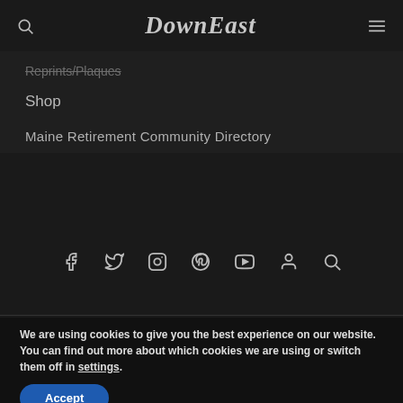DownEast
Reprints/Plaques
Shop
Maine Retirement Community Directory
[Figure (other): Social media icons row: Facebook, Twitter, Instagram, Pinterest, YouTube, User/Account, Search]
We are using cookies to give you the best experience on our website.
You can find out more about which cookies we are using or switch them off in settings.
Accept